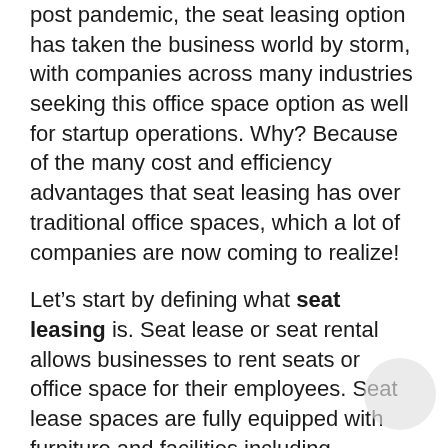post pandemic, the seat leasing option has taken the business world by storm, with companies across many industries seeking this office space option as well for startup operations. Why? Because of the many cost and efficiency advantages that seat leasing has over traditional office spaces, which a lot of companies are now coming to realize!
Let's start by defining what seat leasing is. Seat lease or seat rental allows businesses to rent seats or office space for their employees. Seat lease spaces are fully equipped with furniture and facilities including workstations with a PC, monitors, internet connection, VOIP equipment, desk & chair, air conditioning, and availability of conference rooms & a lunch area; which means you can literally walk into the office any day, and you're ready to work. It is an alternative to the costlier and more time consuming option of renting a full office space, especially if you don't need that much